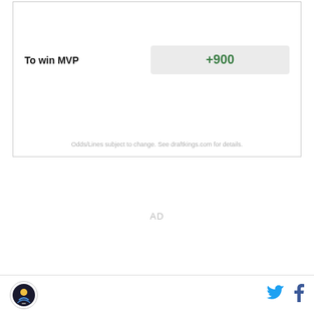|  |  |
| --- | --- |
| To win MVP | +900 |
Odds/Lines subject to change. See draftkings.com for details.
AD